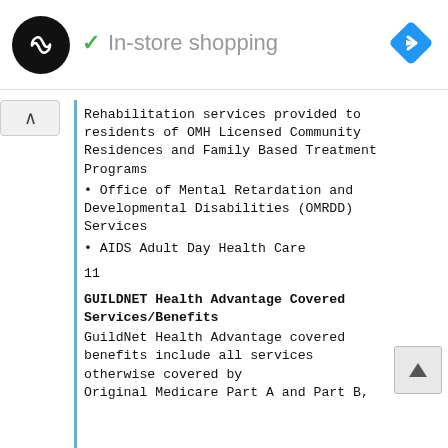[Figure (screenshot): Top UI bar with circular logo (dark background with infinity/loop symbol), checkmark and 'In-store shopping' label in grey, and a blue diamond navigation icon on the right]
[Figure (screenshot): Collapse/accordion button (caret up) on the left side of the content section]
Rehabilitation services provided to residents of OMH Licensed Community Residences and Family Based Treatment Programs
• Office of Mental Retardation and Developmental Disabilities (OMRDD) Services
• AIDS Adult Day Health Care
11
GUILDNET Health Advantage Covered Services/Benefits
GuildNet Health Advantage covered benefits include all services otherwise covered by Original Medicare Part A and Part B,